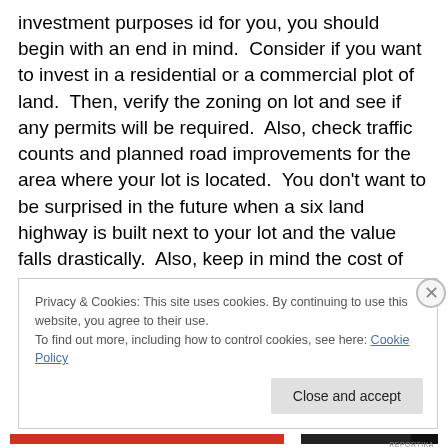investment purposes id for you, you should begin with an end in mind.  Consider if you want to invest in a residential or a commercial plot of land.  Then, verify the zoning on lot and see if any permits will be required.  Also, check traffic counts and planned road improvements for the area where your lot is located.  You don't want to be surprised in the future when a six land highway is built next to your lot and the value falls drastically.  Also, keep in mind the cost of water and septic and verify that these utilities are already present.
Privacy & Cookies: This site uses cookies. By continuing to use this website, you agree to their use.
To find out more, including how to control cookies, see here: Cookie Policy